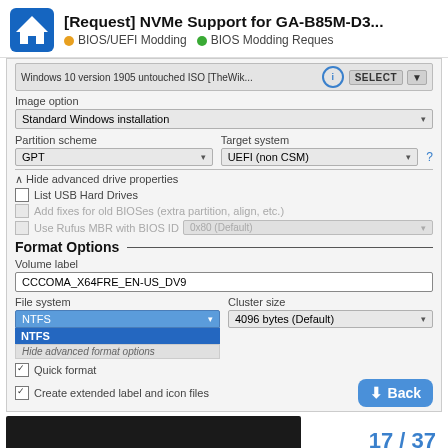[Request] NVMe Support for GA-B85M-D3... • BIOS/UEFI Modding • BIOS Modding Reques
[Figure (screenshot): Rufus USB creation tool dialog showing: Image option 'Standard Windows installation', Partition scheme 'GPT', Target system 'UEFI (non CSM)', Hide advanced drive properties section with unchecked 'List USB Hard Drives', grayed 'Add fixes for old BIOSes', grayed 'Use Rufus MBR with BIOS ID' with '0x80 (Default)' dropdown, Format Options section with Volume label 'CCCOMA_X64FRE_EN-US_DV9', File system dropdown showing NTFS selected with NTFS highlighted in blue dropdown, Cluster size '4096 bytes (Default)', Hide advanced format options, checked Quick format, checked Create extended label and icon files, and a blue Back button]
17 / 37